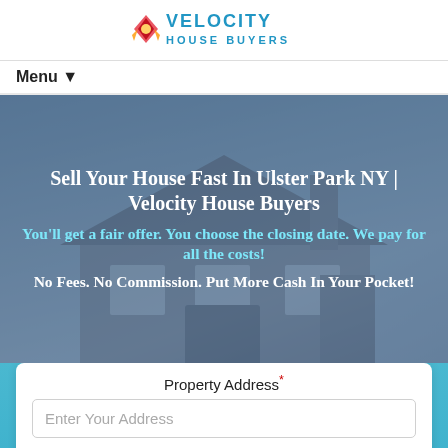[Figure (logo): Velocity House Buyers logo with rocket and colorful text]
Menu ▼
Sell Your House Fast In Ulster Park NY | Velocity House Buyers
You'll get a fair offer. You choose the closing date. We pay for all the costs!
No Fees. No Commission. Put More Cash In Your Pocket!
Property Address*
Enter Your Address
Name*